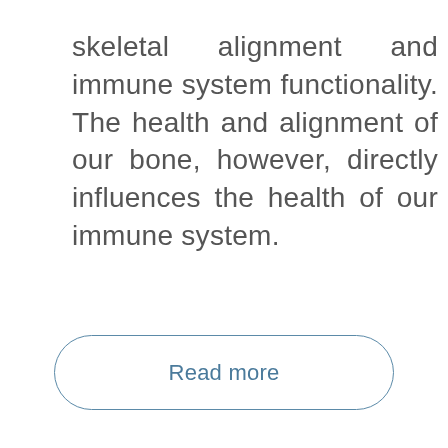skeletal alignment and immune system functionality. The health and alignment of our bone, however, directly influences the health of our immune system.
Read more
JULY 12, 2017   BY DR. DARREN